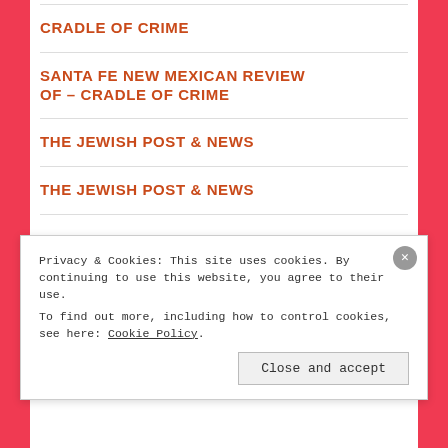CRADLE OF CRIME
SANTA FE NEW MEXICAN REVIEW OF – CRADLE OF CRIME
THE JEWISH POST & NEWS
THE JEWISH POST & NEWS
Privacy & Cookies: This site uses cookies. By continuing to use this website, you agree to their use.
To find out more, including how to control cookies, see here: Cookie Policy
Close and accept